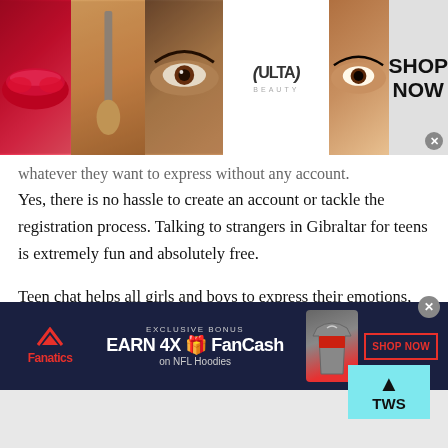[Figure (screenshot): Ulta Beauty advertisement banner at top of page with makeup photos and 'SHOP NOW' text]
whatever they want to express without any account. Yes, there is no hassle to create an account or tackle the registration process. Talking to strangers in Gibraltar for teens is extremely fun and absolutely free.
Teen chat helps all girls and boys to express their emotions, share suggestions or opinions and do what to get out of boredom. You can join TWS teen chat during this pandemic and experience unlimited fun and enjoyment. So, would you like to join TWS
[Figure (screenshot): Fanatics advertisement banner at bottom: EXCLUSIVE BONUS EARN 4X FanCash on NFL Hoodies with SHOP NOW button]